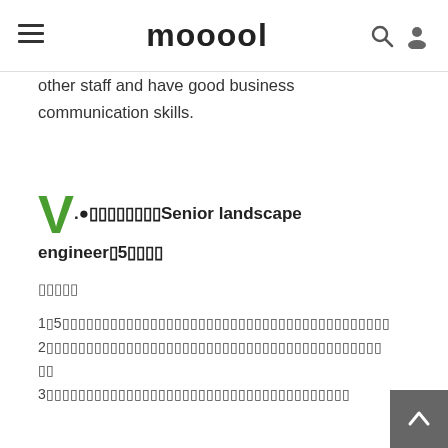mooool
other staff and have good business communication skills.
V. ●囗囗囗囗囗囗囗囗Senior landscape engineer囗5囗囗囗囗
囗囗囗囗囗
1囗5囗囗囗囗囗囗囗囗囗囗囗囗囗囗囗囗囗囗囗囗囗囗囗囗囗囗囗囗囗囗囗囗囗囗囗囗囗囗囗囗
2囗囗囗囗囗囗囗囗囗囗囗囗囗囗囗囗囗囗囗囗囗囗囗囗囗囗囗囗囗囗囗囗囗囗囗囗囗囗囗囗囗囗
3囗囗囗囗囗囗囗囗囗囗囗囗囗囗囗囗囗囗囗囗囗囗囗囗囗囗囗囗囗囗囗囗囗囗囗囗囗囗